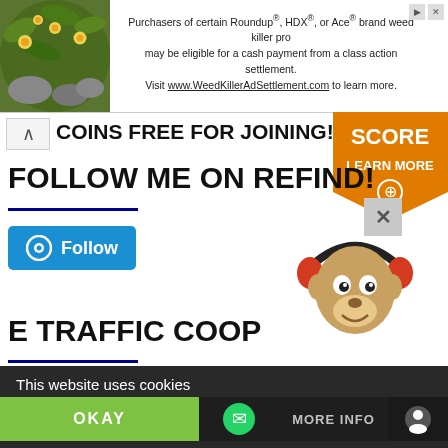[Figure (screenshot): Ad banner: photo of yellow flowers on left, text ad for Roundup/HDX/Ace weed killer class action settlement on right with close/arrow icons]
COINS FREE FOR JOINING!
FOLLOW ME ON REFIND!
[Figure (logo): Blue Follow button with circular icon]
[Figure (illustration): Cartoon monkey mascot wearing red headphones]
E TRAFFIC COOP
This website uses cookies
[Figure (screenshot): Cookie consent bar with OKAY (green) and MORE INFO buttons, social icons]